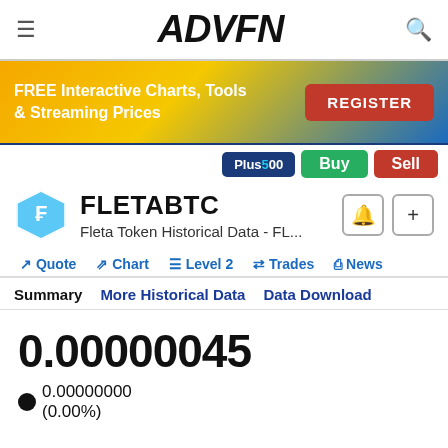ADVFN
[Figure (infographic): ADVFN banner ad: FREE Interactive Charts, Tools & Streaming Prices with REGISTER button]
Plus500 | Buy | Sell
FLETABTC
Fleta Token Historical Data - FL...
Quote | Chart | Level 2 | Trades | News
Summary | More Historical Data | Data Download
0.00000045
0.00000000 (0.00%)